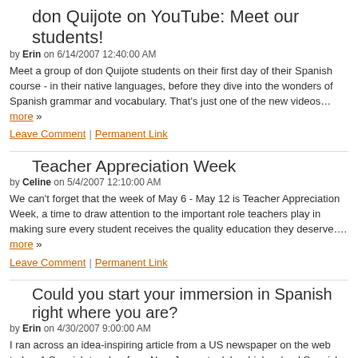don Quijote on YouTube: Meet our students!
by Erin on 6/14/2007 12:40:00 AM
Meet a group of don Quijote students on their first day of their Spanish course - in their native languages, before they dive into the wonders of Spanish grammar and vocabulary. That's just one of the new videos… more »
Leave Comment | Permanent Link
Teacher Appreciation Week
by Celine on 5/4/2007 12:10:00 AM
We can't forget that the week of May 6 - May 12 is Teacher Appreciation Week, a time to draw attention to the important role teachers play in making sure every student receives the quality education they deserve…. more »
Leave Comment | Permanent Link
Could you start your immersion in Spanish right where you are?
by Erin on 4/30/2007 9:00:00 AM
I ran across an idea-inspiring article from a US newspaper on the web today. A Spanish teacher from New Jersey took her high school Spanish students on a 20 minute bus ride to a largely Hispanic town, and then sent… more »
Leave Comment | Permanent Link
Wine Tasting in Salamanca
by Celine on 4/16/2007 12:47:00 AM